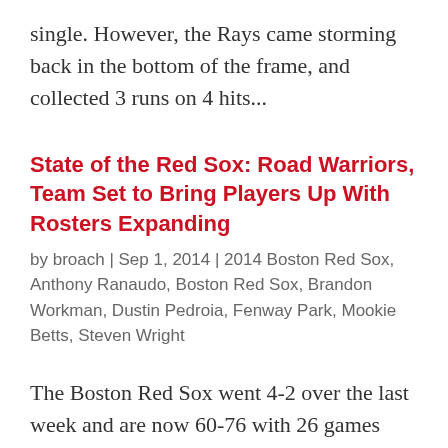single. However, the Rays came storming back in the bottom of the frame, and collected 3 runs on 4 hits...
State of the Red Sox: Road Warriors, Team Set to Bring Players Up With Rosters Expanding
by broach | Sep 1, 2014 | 2014 Boston Red Sox, Anthony Ranaudo, Boston Red Sox, Brandon Workman, Dustin Pedroia, Fenway Park, Mookie Betts, Steven Wright
The Boston Red Sox went 4-2 over the last week and are now 60-76 with 26 games remaining including Monday's contest against the Tampa Bay Rays on Monday. The pitching has done well and the offense has scored enough runs to keep on winning